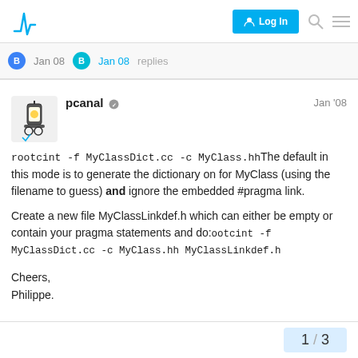Log In
B Jan 08  B Jan 08  replies
pcanal  Jan '08
rootcint -f MyClassDict.cc -c MyClass.hhThe default in this mode is to generate the dictionary on for MyClass (using the filename to guess) and ignore the embedded #pragma link.

Create a new file MyClassLinkdef.h which can either be empty or contain your pragma statements and do:ootcint -f MyClassDict.cc -c MyClass.hh MyClassLinkdef.h

Cheers,
Philippe.
1 / 3